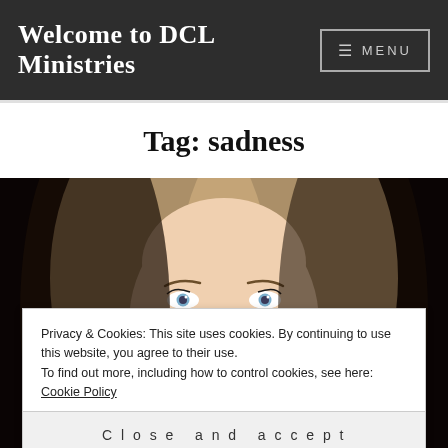Welcome to DCL Ministries  ☰ MENU
Tag: sadness
[Figure (photo): Close-up photo of a woman with blonde hair and blue eyes, smiling, against a dark background]
Privacy & Cookies: This site uses cookies. By continuing to use this website, you agree to their use.
To find out more, including how to control cookies, see here: Cookie Policy
Close and accept